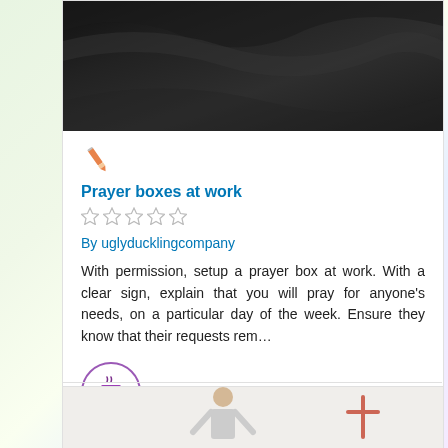[Figure (photo): Dark black fabric/textile background image at top of card]
[Figure (illustration): Orange pencil icon]
Prayer boxes at work
[Figure (other): Five empty star rating icons]
By uglyducklingcompany
With permission, setup a prayer box at work. With a clear sign, explain that you will pray for anyone’s needs, on a particular day of the week. Ensure they know that their requests rem…
[Figure (illustration): Purple coffee/tea cup icon in a circle outline]
[Figure (photo): Bottom card showing a person with a cross symbol]